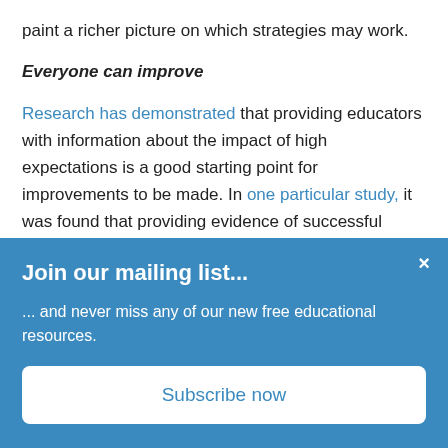paint a richer picture on which strategies may work.
Everyone can improve
Research has demonstrated that providing educators with information about the impact of high expectations is a good starting point for improvements to be made. In one particular study, it was found that providing evidence of successful achievement of low income students significantly altered the expectations of what was possible.
Join our mailing list...
... and never miss any of our new free educational resources.
Subscribe now